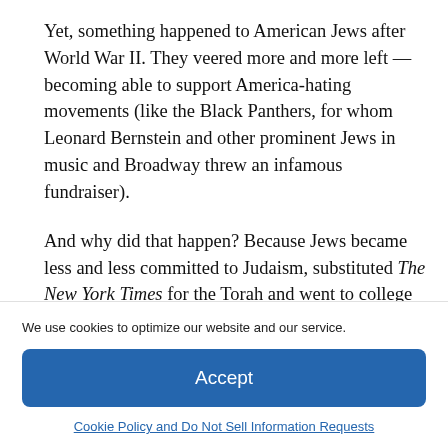Yet, something happened to American Jews after World War II. They veered more and more left — becoming able to support America-hating movements (like the Black Panthers, for whom Leonard Bernstein and other prominent Jews in music and Broadway threw an infamous fundraiser).
And why did that happen? Because Jews became less and less committed to Judaism, substituted The New York Times for the Torah and went to college in greater proportions than any other ethnic or religious group in America.
We use cookies to optimize our website and our service.
Accept
Cookie Policy and Do Not Sell Information Requests